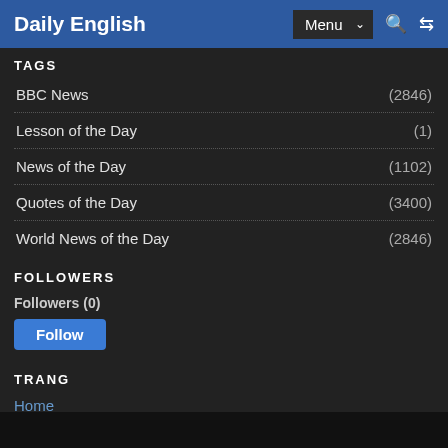Daily English | Menu | Search | Shuffle
TAGS
BBC News (2846)
Lesson of the Day (1)
News of the Day (1102)
Quotes of the Day (3400)
World News of the Day (2846)
FOLLOWERS
Followers (0)
Follow
TRANG
Home